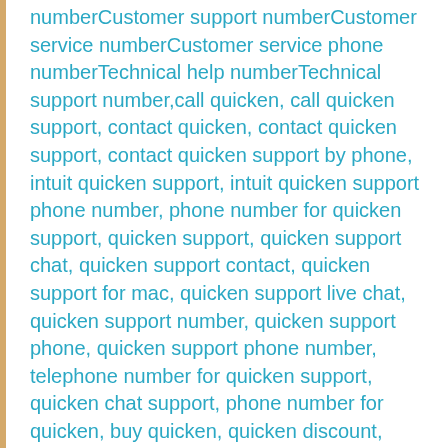numberCustomer support numberCustomer service numberCustomer service phone numberTechnical help numberTechnical support number,call quicken, call quicken support, contact quicken, contact quicken support, contact quicken support by phone, intuit quicken support, intuit quicken support phone number, phone number for quicken support, quicken support, quicken support chat, quicken support contact, quicken support for mac, quicken support live chat, quicken support number, quicken support phone, quicken support phone number, telephone number for quicken support, quicken chat support, phone number for quicken, buy quicken, quicken discount, quicken rates, quicken sale, quicken upgrade, upgrade quicken,, quicken online backup customer service, quicken online backup